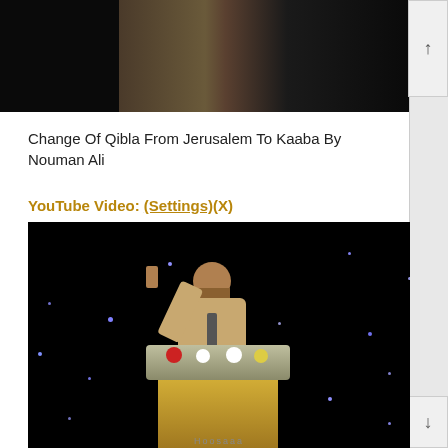[Figure (screenshot): Top portion of a webpage showing a dark video thumbnail image at the top]
Change Of Qibla From Jerusalem To Kaaba By Nouman Ali
YouTube Video: (Settings)(X)
[Figure (screenshot): YouTube video thumbnail showing a man in a suit speaking at a podium with flowers, against a dark background with blue star lights]